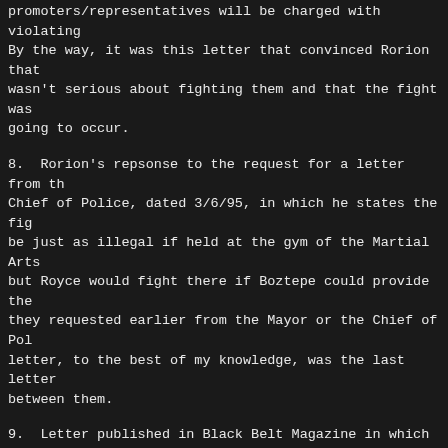promoters/representatives will be charged with violating. By the way, it was this letter that convinced Rorion that wasn't serious about fighting them and that the fight was going to occur.
8.  Rorion's repsonse to the request for a letter from the Chief of Police, dated 3/6/95, in which he states the fight be just as illegal if held at the gym of the Martial Arts but Royce would fight there if Boztepe could provide the they requested earlier from the Mayor or the Chief of Police. letter, to the best of my knowledge, was the last letter between them.
9.  Letter published in Black Belt Magazine in which Royce Boztepe to a circus clown.
10.  Letter from Boztepe, dated 4/3/95, that Mike Adams posted rec.martial-arts.  Supposedly this letter was going to be in magazines, but I don't know if it has.
The following letters are reproduced verbatim from the originals as best as I can (i.e. I can't reproduce changes in font I have copies of the originals for letters 1, and 3-8 above only have electronic versions of 2, 9, and 10.